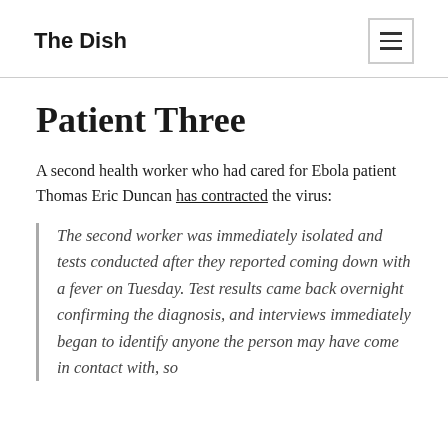The Dish
Patient Three
A second health worker who had cared for Ebola patient Thomas Eric Duncan has contracted the virus:
The second worker was immediately isolated and tests conducted after they reported coming down with a fever on Tuesday. Test results came back overnight confirming the diagnosis, and interviews immediately began to identify anyone the person may have come in contact with, so